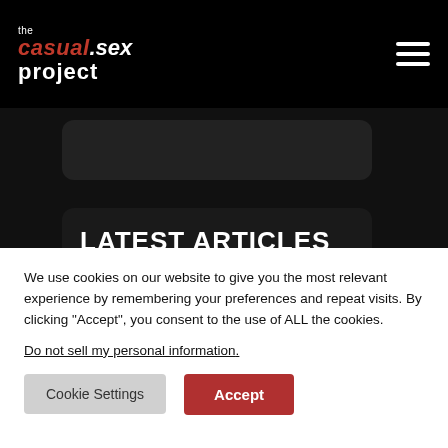the casual.sex project
LATEST ARTICLES
We use cookies on our website to give you the most relevant experience by remembering your preferences and repeat visits. By clicking “Accept”, you consent to the use of ALL the cookies.
Do not sell my personal information.
Cookie Settings | Accept